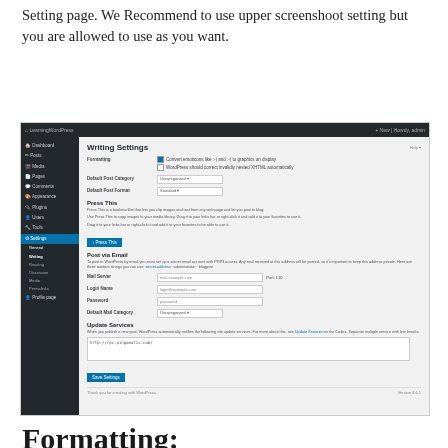Setting page. We Recommend to use upper screenshoot setting but you are allowed to use as you want.
[Figure (screenshot): WordPress Writing Settings admin page screenshot showing formatting options, default post category, default post format, Press This bookmarklet, Post via Email configuration fields (mail server, login name, password, default mail category), and Update Services textarea with save settings button.]
Formatting:
Convert emoticons like 🙂 and 😐 to graphics on screen